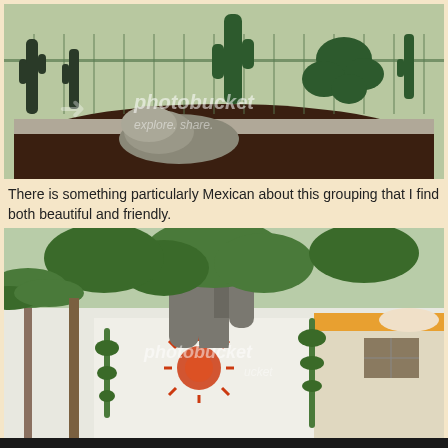[Figure (photo): Outdoor cactus garden with various cactus sculptures and plants in dark mulch with gravel border and metal fence in background. Photobucket watermark visible.]
There is something particularly Mexican about this grouping that I find both beautiful and friendly.
[Figure (photo): Outdoor scene with large tree trunk, palm tree, white wall with sun decoration, and white building. Photobucket watermark visible.]